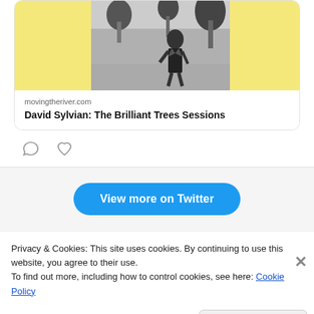[Figure (photo): Black and white photo of a man standing outdoors near trees, on a yellow background. This is the album/article card image for David Sylvian: The Brilliant Trees Sessions on movingtheriver.com]
movingtheriver.com
David Sylvian: The Brilliant Trees Sessions
[Figure (other): Comment icon (speech bubble outline) and heart/like icon, Twitter-style action buttons]
View more on Twitter
Privacy & Cookies: This site uses cookies. By continuing to use this website, you agree to their use.
To find out more, including how to control cookies, see here: Cookie Policy
Close and accept